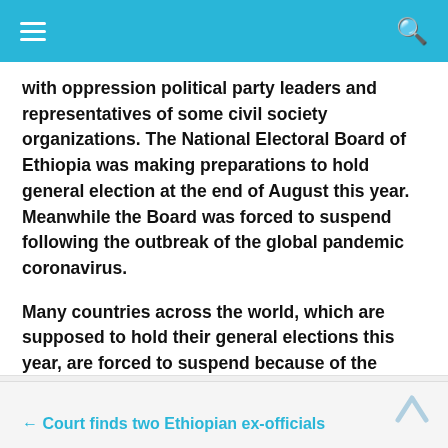≡  [navigation bar with search icon]
with oppression political party leaders and representatives of some civil society organizations. The National Electoral Board of Ethiopia was making preparations to hold general election at the end of August this year. Meanwhile the Board was forced to suspend following the outbreak of the global pandemic coronavirus.

Many countries across the world, which are supposed to hold their general elections this year, are forced to suspend because of the global pandemic.
← Court finds two Ethiopian ex-officials